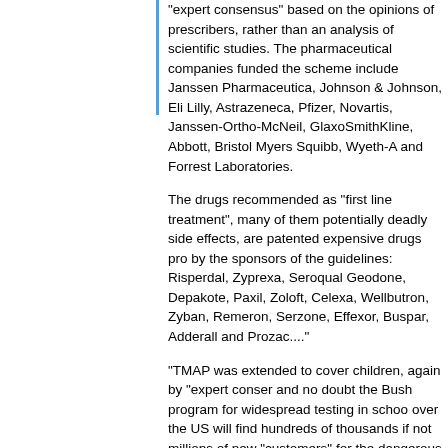"expert consensus" based on the opinions of prescribers, rather than an analysis of scientific studies. The pharmaceutical companies funded the scheme include Janssen Pharmaceutica, Johnson & Johnson, Eli Lilly, Astrazeneca, Pfizer, Novartis, Janssen-Ortho-McNeil, GlaxoSmithKline, Abbott, Bristol Myers Squibb, Wyeth-A and Forrest Laboratories.
The drugs recommended as "first line treatment", many of them potentially deadly side effects, are patented expensive drugs produced by the sponsors of the guidelines: Risperdal, Zyprexa, Seroquel, Geodone, Depakote, Paxil, Zoloft, Celexa, Wellbutron, Zyban, Remeron, Serzone, Effexor, Buspar, Adderall and Prozac...."
"TMAP was extended to cover children, again by "expert consensus" and no doubt the Bush program for widespread testing in schools over the US will find hundreds of thousands if not millions of new "customers" for the dangerous psychiatric drugs the scheme promotes."
//omega.twoday.net/stories/327093/
Most importantly, FORWARD THIS PETITION to others on your and ask them to do the same
In gratitude,
Jack Topel
(excerpt from his message)
Omega see also: